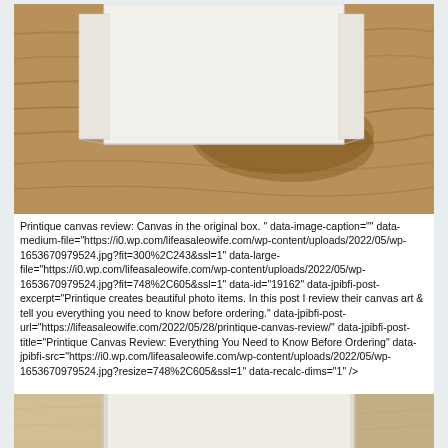[Figure (photo): Printique canvas in the original box, placed on a wooden surface. Shows a white/cream canvas with brown wood grain background.]
Printique canvas review: Canvas in the original box. " data-image-caption="" data-medium-file="https://i0.wp.com/lifeasaleowife.com/wp-content/uploads/2022/05/wp-1653670979524.jpg?fit=300%2C243&ssl=1" data-large-file="https://i0.wp.com/lifeasaleowife.com/wp-content/uploads/2022/05/wp-1653670979524.jpg?fit=748%2C605&ssl=1" data-id="19162" data-jpibfi-post-excerpt="Printique creates beautiful photo items. In this post I review their canvas art & tell you everything you need to know before ordering." data-jpibfi-post-url="https://lifeasaleowife.com/2022/05/28/printique-canvas-review/" data-jpibfi-post-title="Printique Canvas Review: Everything You Need to Know Before Ordering" data-jpibfi-src="https://i0.wp.com/lifeasaleowife.com/wp-content/uploads/2022/05/wp-1653670979524.jpg?resize=748%2C605&ssl=1" data-recalc-dims="1" />
[Figure (photo): Second photo of Printique canvas showing the canvas from above on a light wood surface, partially visible at bottom of page.]